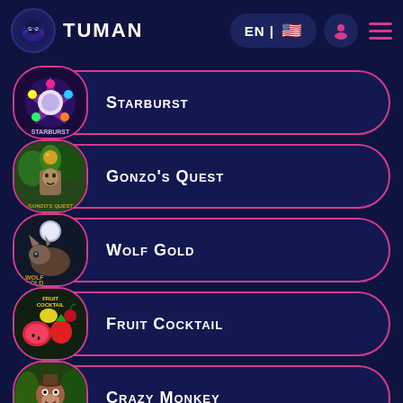TUMAN | EN | [flag] [user] [menu]
Starburst
Gonzo's Quest
Wolf Gold
Fruit Cocktail
Crazy Monkey
(partial item)